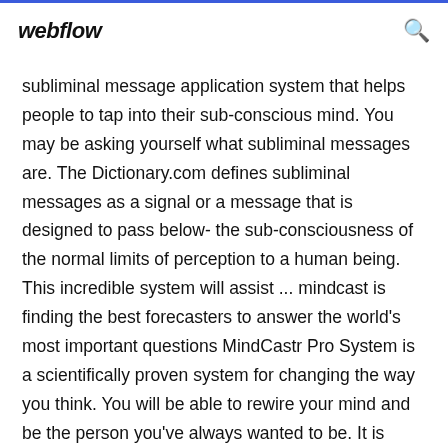webflow
subliminal message application system that helps people to tap into their sub-conscious mind. You may be asking yourself what subliminal messages are. The Dictionary.com defines subliminal messages as a signal or a message that is designed to pass below- the sub-consciousness of the normal limits of perception to a human being. This incredible system will assist ... mindcast is finding the best forecasters to answer the world's most important questions MindCastr Pro System is a scientifically proven system for changing the way you think. You will be able to rewire your mind and be the person you've always wanted to be. It is based on subliminal messaging